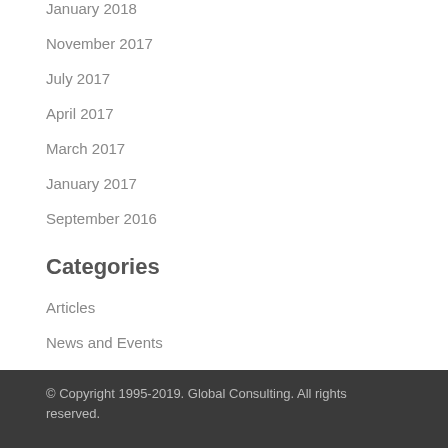January 2018
November 2017
July 2017
April 2017
March 2017
January 2017
September 2016
Categories
Articles
News and Events
© Copyright 1995-2019. Global Consulting. All rights reserved.